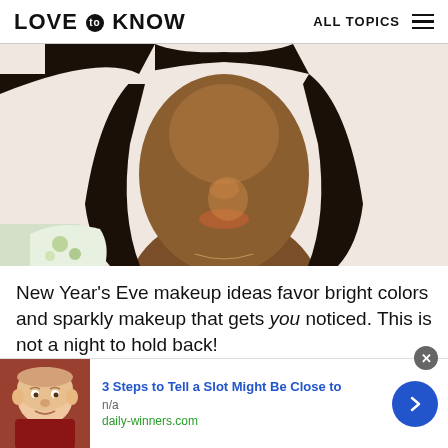LOVE to KNOW   ALL TOPICS
[Figure (photo): Close-up photo of a Black woman with long straight dark hair, wearing a floral-strap garment, facing the camera with neutral expression. Cropped from shoulders up.]
New Year's Eve makeup ideas favor bright colors and sparkly makeup that gets you noticed. This is not a night to hold back!
[Figure (photo): Advertisement: photo of an older white man. Text reads '3 Steps to Tell a Slot Might Be Close to' with source 'daily-winners.com']